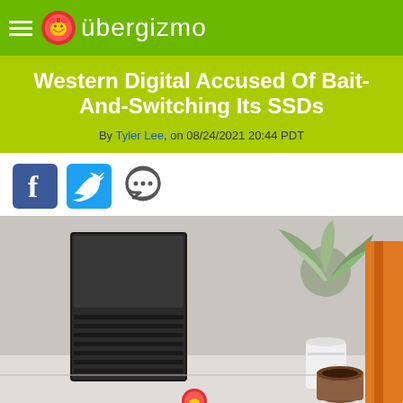übergizmo
Western Digital Accused Of Bait-And-Switching Its SSDs
By Tyler Lee, on 08/24/2021 20:44 PDT
[Figure (other): Social media share icons: Facebook, Twitter, and comment/chat icon]
[Figure (photo): Western Digital external hard drive (black, rectangular with ridged design) on a light surface, with a potted plant, orange book corner, and coffee cup in the background]